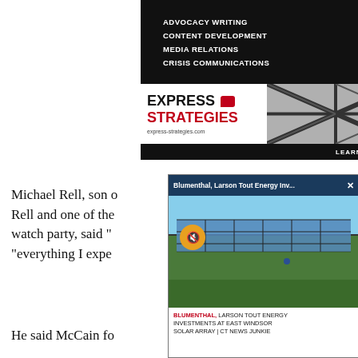[Figure (advertisement): Express Strategies advertisement banner showing services: Advocacy Writing, Content Development, Media Relations, Crisis Communications. Logo with red chat bubble. Website express-strategies.com. Learn More button at bottom.]
Michael Rell, son of Rell and one of the watch party, said “everything I expe
[Figure (screenshot): Video popup overlay titled 'Blumenthal, Larson Tout Energy Inv...' with an X close button. Shows solar panels image with mute button. Caption reads: BLUMENTHAL, LARSON TOUT ENERGY INVESTMENTS AT EAST WINDSOR SOLAR ARRAY | CT NEWS JUNKIE]
He said McCain fo